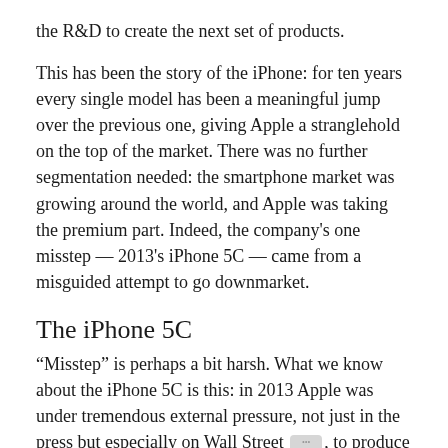the R&D to create the next set of products.
This has been the story of the iPhone: for ten years every single model has been a meaningful jump over the previous one, giving Apple a stranglehold on the top of the market. There was no further segmentation needed: the smartphone market was growing around the world, and Apple was taking the premium part. Indeed, the company's one misstep — 2013's iPhone 5C — came from a misguided attempt to go downmarket.
The iPhone 5C
“Misstep” is perhaps a bit harsh. What we know about the iPhone 5C is this: in 2013 Apple was under tremendous external pressure, not just in the press but especially on Wall Street [•••], to produce a lower-cost iPhone. Most analysts were convinced the company had not just saturated the high end but was in imminent danger of being disrupted by cheaper good-enough Android phones [•••], and